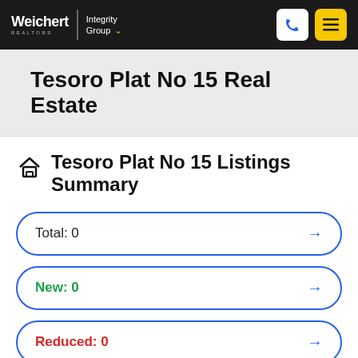Weichert | Integrity Group
Tesoro Plat No 15 Real Estate
Tesoro Plat No 15 Listings Summary
Total: 0
New: 0
Reduced: 0